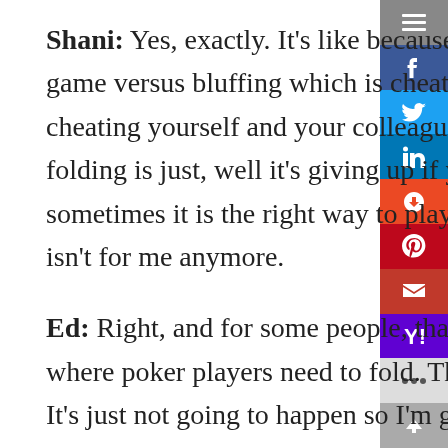Shani: Yes, exactly. It's like because there's something about staying in the game versus bluffing which is cheating your way through the game. You're cheating yourself and your colleagues and your clients potentially and of course folding is just, well it's giving up if you haven't tried other things first and sometimes it is the right way to play the game is to say you know what, this game isn't for me anymore.
Ed: Right, and for some people, that's a good decision. Trust me, there are times where poker players need to fold. They can't turn a bad hand into a winning hand. It's just not going to happen so I'm going to sit this one out and I'll be back, but I'm not going to be in this particular hand and that's sometimes, not always, but sometimes what people need to do professionally is to recognize that whatever they are doing is not a good fit.
Shani: Yes. I will say I think one of the reasons I was so drawn to that particular topic out of the litany of things in your wheelhouse was, I have always been able to Home. Because of so many have the courage to—